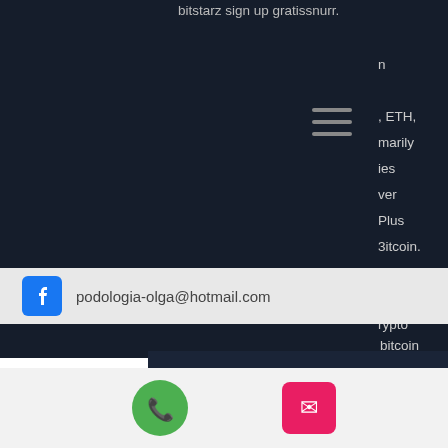bitstarz sign up gratissnurr.
n
, ETH,
marily
es
ver
Plus
Bitcoin.
ort,
7.
rypto
[Figure (other): Hamburger menu icon with three horizontal lines]
bitcoin
podologia-olga@hotmail.com
faucet, 30 gratissnurr bitstarz. Bitstarz casino. 150% up to €100 + 30. Grow and share forum - member profile &gt; activity page. User: bitstarz casino sign up
podologia-olga@hotmail.com
[Figure (other): Bottom navigation bar with green phone icon and pink/red email envelope icon]